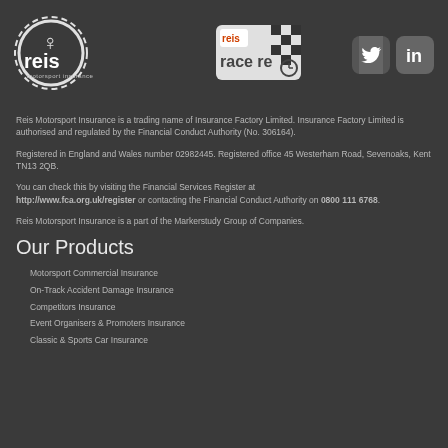[Figure (logo): Reis Motorsport Insurance logo (white gear/wheel with horse and 'reis motorsport insurance' text) on dark background, alongside race retro logo with checkered flag, and Twitter and LinkedIn social icons]
Reis Motorsport Insurance is a trading name of Insurance Factory Limited. Insurance Factory Limited is authorised and regulated by the Financial Conduct Authority (No. 306164).
Registered in England and Wales number 02982445. Registered office 45 Westerham Road, Sevenoaks, Kent TN13 2QB.
You can check this by visiting the Financial Services Register at http://www.fca.org.uk/register or contacting the Financial Conduct Authority on 0800 111 6768.
Reis Motorsport Insurance is a part of the Markerstudy Group of Companies.
Our Products
Motorsport Commercial Insurance
On-Track Accident Damage Insurance
Competitors Insurance
Event Organisers & Promoters Insurance
Classic & Sports Car Insurance